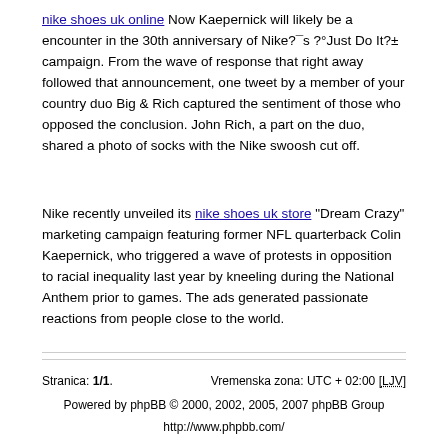nike shoes uk online Now Kaepernick will likely be a encounter in the 30th anniversary of Nike?¯s ?°Just Do It?± campaign. From the wave of response that right away followed that announcement, one tweet by a member of your country duo Big & Rich captured the sentiment of those who opposed the conclusion. John Rich, a part on the duo, shared a photo of socks with the Nike swoosh cut off.
Nike recently unveiled its nike shoes uk store "Dream Crazy" marketing campaign featuring former NFL quarterback Colin Kaepernick, who triggered a wave of protests in opposition to racial inequality last year by kneeling during the National Anthem prior to games. The ads generated passionate reactions from people close to the world.
Stranica: 1/1.    Vremenska zona: UTC + 02:00 [LJV]
Powered by phpBB © 2000, 2002, 2005, 2007 phpBB Group
http://www.phpbb.com/